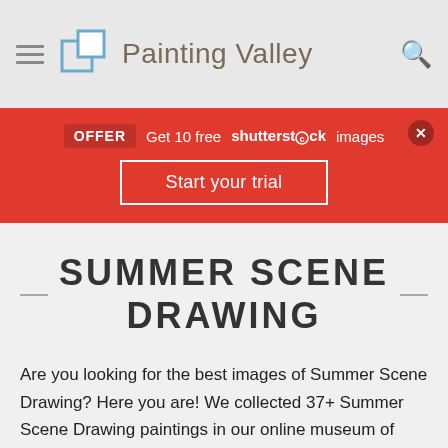Painting Valley
[Figure (infographic): Red promotional banner: OFFER - Get 10 free Shutterstock images. Start your trial button.]
SUMMER SCENE DRAWING
Are you looking for the best images of Summer Scene Drawing? Here you are! We collected 37+ Summer Scene Drawing paintings in our online museum of paintings - PaintingValley.com.